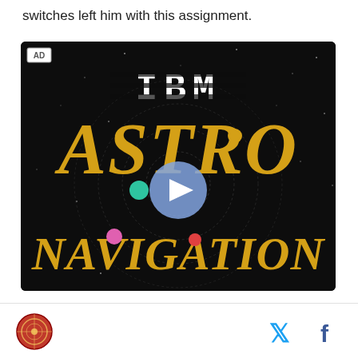switches left him with this assignment.
[Figure (screenshot): IBM Astro Navigation video ad thumbnail showing dark space background with yellow serif text reading ASTRO on top and NAVIGATION on bottom, IBM logo at top, orbital ring diagram in center with a play button, and colorful planet dots scattered around.]
[Figure (logo): Circular red logo with imagery (bottom left)]
[Figure (logo): Twitter bird icon (blue)]
[Figure (logo): Facebook f icon (dark blue)]